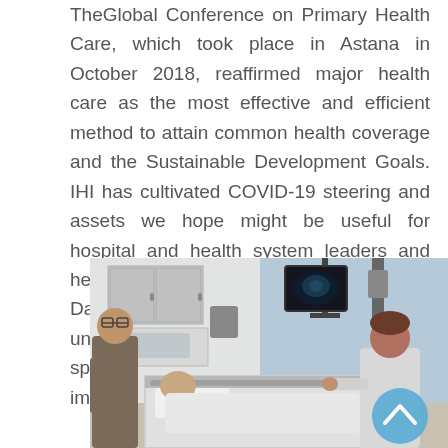TheGlobal Conference on Primary Health Care, which took place in Astana in October 2018, reaffirmed major health care as the most effective and efficient method to attain common health coverage and the Sustainable Development Goals. IHI has cultivated COVID-19 steering and assets we hope might be useful for hospital and health system leaders and health care providers. IHI's COVID-19 Data Tracker may help choice makers understand whether efforts to cut back the spread of COVID-19 are leading to improvement.
[Figure (photo): Hospital room scene with a person standing on the left wearing a gray shirt, and a healthcare provider (nurse/doctor) in a white coat on the right attending to a patient mannequin on a hospital bed. Medical equipment including cabinets and a monitor are visible. A blue circular scroll-up button is overlaid in the lower right.]